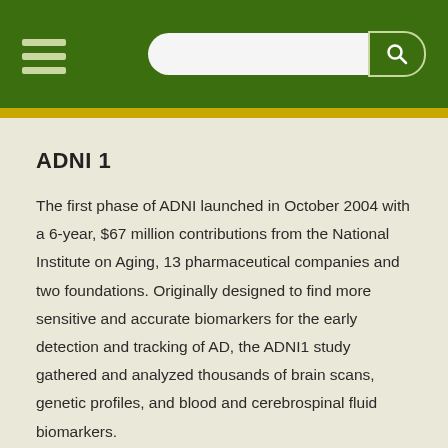[Navigation header with hamburger menu and search bar]
ADNI 1
The first phase of ADNI launched in October 2004 with a 6-year, $67 million contributions from the National Institute on Aging, 13 pharmaceutical companies and two foundations. Originally designed to find more sensitive and accurate biomarkers for the early detection and tracking of AD, the ADNI1 study gathered and analyzed thousands of brain scans, genetic profiles, and blood and cerebrospinal fluid biomarkers.
The study included 400 subjects diagnosed with mild cognitive impairment (MCI), 200 subjects